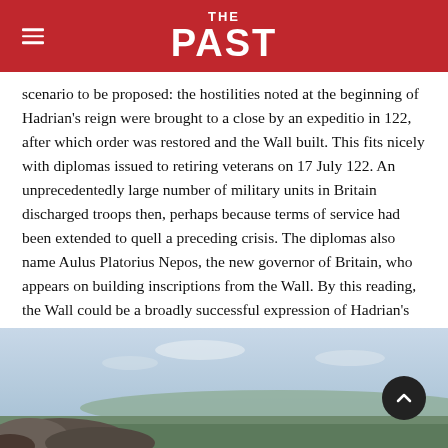THE PAST
scenario to be proposed: the hostilities noted at the beginning of Hadrian's reign were brought to a close by an expeditio in 122, after which order was restored and the Wall built. This fits nicely with diplomas issued to retiring veterans on 17 July 122. An unprecedentedly large number of military units in Britain discharged troops then, perhaps because terms of service had been extended to quell a preceding crisis. The diplomas also name Aulus Platorius Nepos, the new governor of Britain, who appears on building inscriptions from the Wall. By this reading, the Wall could be a broadly successful expression of Hadrian's devotion to – as the HA put it – 'maintaining peace throughout the world.'
[Figure (photo): Landscape photograph showing rocky outcrop in foreground with sweeping countryside and sky in background, likely along Hadrian's Wall.]